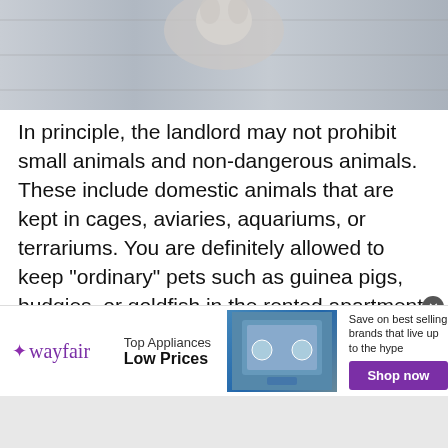[Figure (photo): Photo of a cat near wooden slats, partially visible at top of page]
In principle, the landlord may not prohibit small animals and non-dangerous animals. These include domestic animals that are kept in cages, aviaries, aquariums, or terrariums. You are definitely allowed to keep “ordinary” pets such as guinea pigs, budgies, or goldfish in the rented apartment. Cats and dogs are not considered small animals as they are not kept in cages. Whether you have to ask the landlord for permission before buying a cat depends on the
[Figure (screenshot): Wayfair advertisement banner: Top Appliances Low Prices, Save on best selling brands that live up to the hype, Shop now button]